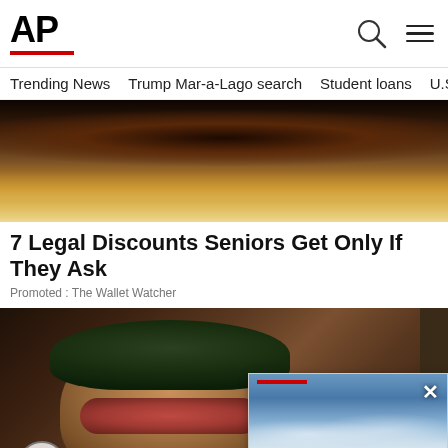AP
Trending News   Trump Mar-a-Lago search   Student loans   U.S.
[Figure (photo): Close-up photo of a cheeseburger with dark toppings wrapped in paper]
7 Legal Discounts Seniors Get Only If They Ask
Promoted : The Wallet Watcher
[Figure (photo): Photo of a man wearing a Clinton Gore cap and red-tinted sunglasses]
[Figure (screenshot): Floating video overlay with thumbnail of sky/clouds and text: NASA scrubs launc...]